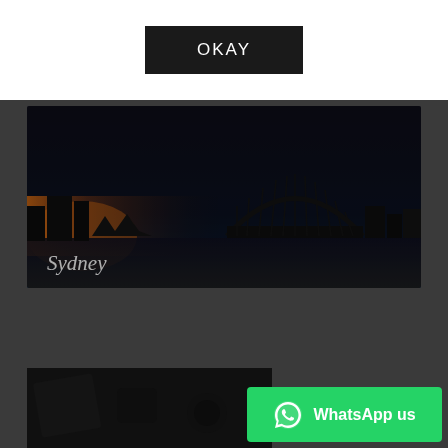[Figure (other): White top bar with black OKAY button in center]
[Figure (photo): Dark photograph of Sydney harbour bridge at dusk/sunset with orange glow on left side, city skyline silhouette, 'Sydney' text overlay in italic serif font]
[Figure (photo): Dark photograph of desk items including what appears to be a camera and papers, partially visible at bottom]
[Figure (other): Green WhatsApp button with WhatsApp logo icon and text 'WhatsApp us']